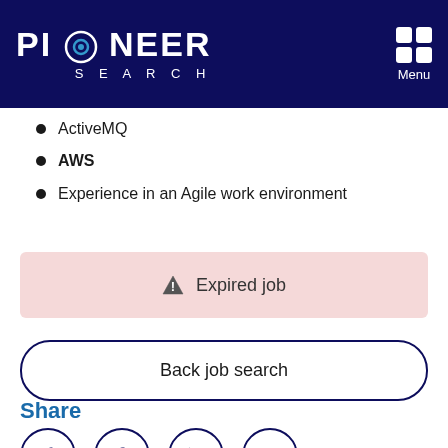Pioneer Search — navigation header with logo and menu
Financial services experience
Docker
Kubernetes
ActiveMQ
AWS
Experience in an Agile work environment
⚠ Expired job
Back job search
Share
[Figure (other): Social sharing icons: Twitter, Facebook, LinkedIn, Email — circular outlined buttons]